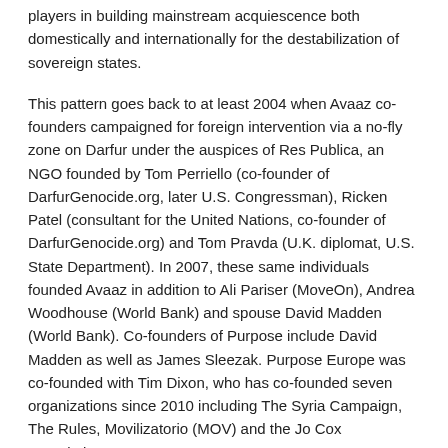players in building mainstream acquiescence both domestically and internationally for the destabilization of sovereign states.
This pattern goes back to at least 2004 when Avaaz co-founders campaigned for foreign intervention via a no-fly zone on Darfur under the auspices of Res Publica, an NGO founded by Tom Perriello (co-founder of DarfurGenocide.org, later U.S. Congressman), Ricken Patel (consultant for the United Nations, co-founder of DarfurGenocide.org) and Tom Pravda (U.K. diplomat, U.S. State Department). In 2007, these same individuals founded Avaaz in addition to Ali Pariser (MoveOn), Andrea Woodhouse (World Bank) and spouse David Madden (World Bank). Co-founders of Purpose include David Madden as well as James Sleezak. Purpose Europe was co-founded with Tim Dixon, who has co-founded seven organizations since 2010 including The Syria Campaign, The Rules, Movilizatorio (MOV) and the Jo Cox Foundation.
[To view the full bios and interlocking mind map, see Appendix I, attached to this report.]
In addition to the aforementioned individuals, Avaaz was also co-founded by parent organizations MoveOn and Res Publica with financing from George Soros' Open Society Institute (OSI). Assistance was also provided by OSI's Arych Neier. Aryeh Neier is President